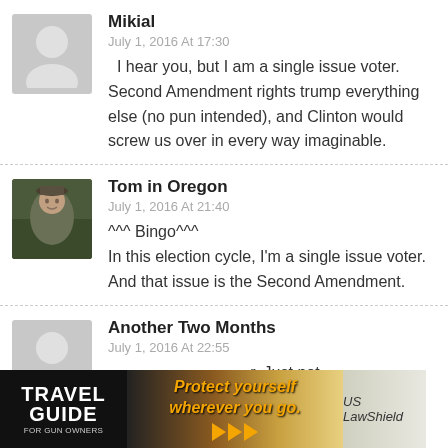[Figure (illustration): Generic user avatar (grey silhouette on grey background)]
Mikial
July 1, 2016 At 17:30
I hear you, but I am a single issue voter. Second Amendment rights trump everything else (no pun intended), and Clinton would screw us over in every way imaginable.
[Figure (photo): Photo of Tom in Oregon, a man in outdoor/military style clothing]
Tom in Oregon
July 1, 2016 At 21:40
^^^ Bingo^^^
In this election cycle, I'm a single issue voter. And that issue is the Second Amendment.
[Figure (illustration): Generic user avatar (grey silhouette on grey background)]
Another Two Months
July 1, 2016 At 22:55
r. Just not
t. Everything
[Figure (other): Travel Guide for Gun Owners advertisement banner: Protect yourself wherever you go.]